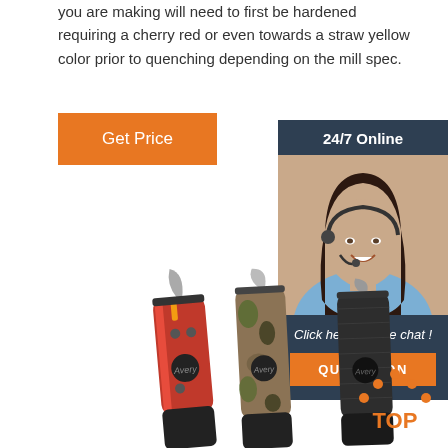you are making will need to first be hardened requiring a cherry red or even towards a straw yellow color prior to quenching depending on the mill spec.
Get Price
[Figure (infographic): 24/7 Online support widget with a woman wearing a headset smiling, and a 'Click here for free chat! QUOTATION' button]
[Figure (photo): Three folding knives displayed side by side — red, camouflage, and black tactical knives]
[Figure (other): TOP back-to-top button with orange dots forming an upward arrow icon and text TOP]